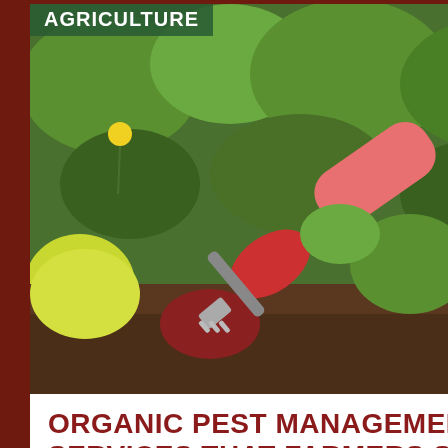[Figure (photo): A person wearing red gardening gloves using a hand trowel/fork in a garden bed with green plants and soil. Text overlay includes 'AGRICULTURE' in a green banner at top and 'MAY 11' in white at top right.]
ORGANIC PEST MANAGEMENT SERVICES THAT FARMERS SHOULD EMULATE IN MCGEHEE, AR...
posted by aria rivera
The impact of pests in agricultural farms in McGehee AR can be enormous. When infested by pests such as